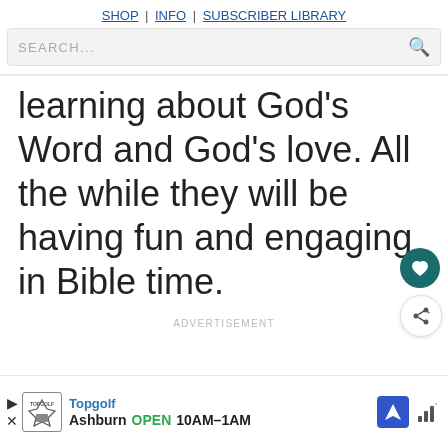SHOP | INFO | SUBSCRIBER LIBRARY
SEARCH...
learning about God's Word and God's love. All the while they will be having fun and engaging in Bible time.
ADVERTISEMENT
[Figure (other): Topgolf advertisement banner showing Ashburn location OPEN 10AM-1AM with navigation icon and play button]
Topgolf Ashburn OPEN 10AM–1AM